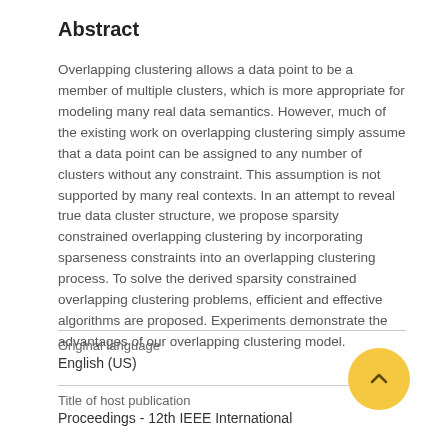Abstract
Overlapping clustering allows a data point to be a member of multiple clusters, which is more appropriate for modeling many real data semantics. However, much of the existing work on overlapping clustering simply assume that a data point can be assigned to any number of clusters without any constraint. This assumption is not supported by many real contexts. In an attempt to reveal true data cluster structure, we propose sparsity constrained overlapping clustering by incorporating sparseness constraints into an overlapping clustering process. To solve the derived sparsity constrained overlapping clustering problems, efficient and effective algorithms are proposed. Experiments demonstrate the advantages of our overlapping clustering model.
Original language
English (US)
Title of host publication
Proceedings - 12th IEEE International